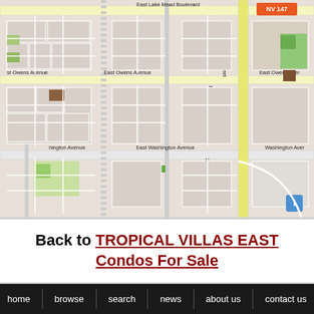[Figure (map): Street map showing area around East Lake Mead Boulevard, East Owens Avenue, East Washington Avenue, North Sloan Lane, Mount Hood Street, North Christy Lane, NV 147 highway in Nevada.]
Back to TROPICAL VILLAS EAST Condos For Sale
home | browse | search | news | about us | contact us